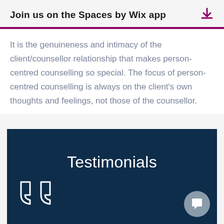Join us on the Spaces by Wix app
It is the genuineness and intimacy of the client/counsellor relationship that makes person-centred counselling so special. The focus of person-centred counselling is always on the client's own thoughts and feelings, not those of the counsellor.
Testimonials
[Figure (illustration): Large double closing quotation marks in white outline on dark navy background, bottom-left of testimonials section]